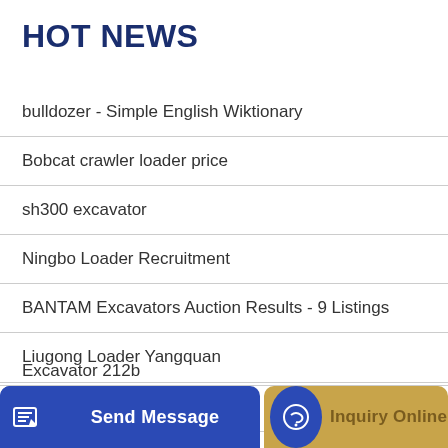HOT NEWS
bulldozer - Simple English Wiktionary
Bobcat crawler loader price
sh300 excavator
Ningbo Loader Recruitment
BANTAM Excavators Auction Results - 9 Listings
Liugong Loader Yangquan
Jiatian second-hand excavator
...ong
Excavator 212b